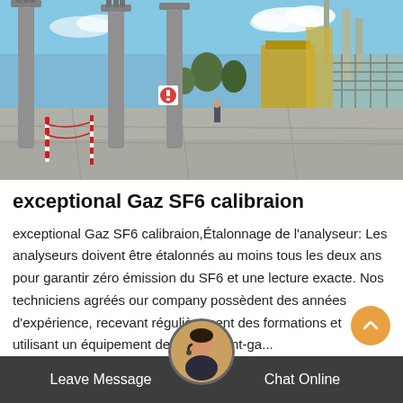[Figure (photo): Outdoor electrical substation with large grey cylindrical pillars, red and white safety barriers, equipment and machinery in the background, blue sky with clouds.]
exceptional Gaz SF6 calibraion
exceptional Gaz SF6 calibraion,Étalonnage de l'analyseur: Les analyseurs doivent être étalonnés au moins tous les deux ans pour garantir zéro émission du SF6 et une lecture exacte. Nos techniciens agréés our company possèdent des années d'expérience, recevant régulièrement des formations et utilisant un équipement de test d'avant-ga...
Leave Message   Chat Online